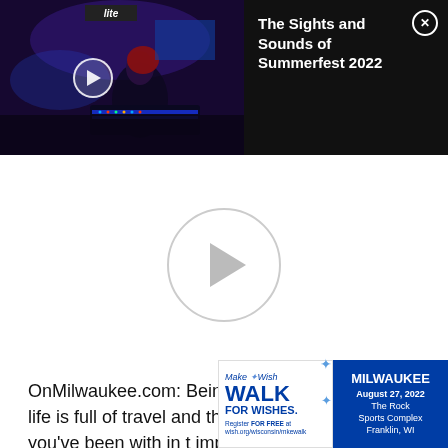[Figure (screenshot): Video thumbnail showing Summerfest 2022 concert scene with person at mixing board, dark/blue-purple lighting, crowd in background, Miller Lite banner visible]
The Sights and Sounds of Summerfest 2022
[Figure (screenshot): Large play button circle (gray outline) on white background indicating a paused video player]
OnMilwaukee.com: Being a baseball player, your life is full of travel and this is the [t]... league team you've been with in t[he]... important to find a "home" right a[way in a]... new place as opposed to maybe just staying in a